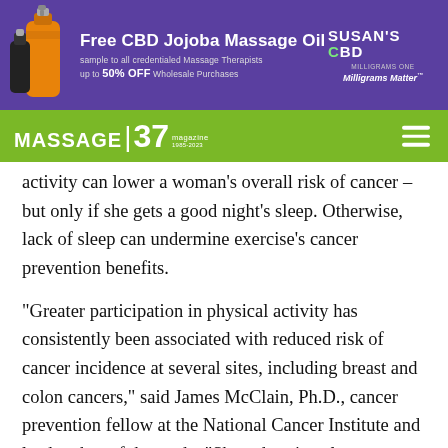[Figure (other): Advertisement banner for Susan's CBD Free CBD Jojoba Massage Oil, purple background with product bottles illustration, offering free sample to credentialed Massage Therapists and up to 50% OFF Wholesale Purchases. Susan's CBD logo with tagline Milligrams Matter.]
[Figure (logo): Massage Magazine navigation bar logo on green background showing MASSAGE 37 magazine with hamburger menu icon]
activity can lower a woman's overall risk of cancer – but only if she gets a good night's sleep. Otherwise, lack of sleep can undermine exercise's cancer prevention benefits.
“Greater participation in physical activity has consistently been associated with reduced risk of cancer incidence at several sites, including breast and colon cancers,” said James McClain, Ph.D., cancer prevention fellow at the National Cancer Institute and lead author of the study. “Short duration sleep appears to have opposing effects of physical activity on several key hormonal and metabolic